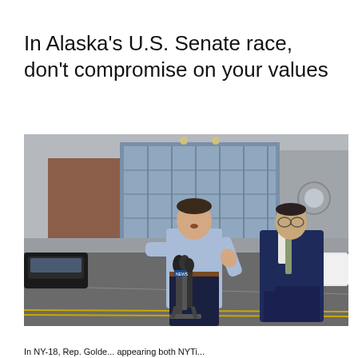In Alaska’s U.S. Senate race, don’t compromise on your values
[Figure (photo): Two men in dress shirts standing outdoors in front of a large building with brick and glass facade; the man in front (light blue shirt, rolled sleeves) is speaking at a microphone cluster, gesturing with his hand; a second man in a dark blue suit stands behind him to the right; cars and a parking area are visible in the background.]
In NY-18, Rep. Golde... appearing both NYTi...